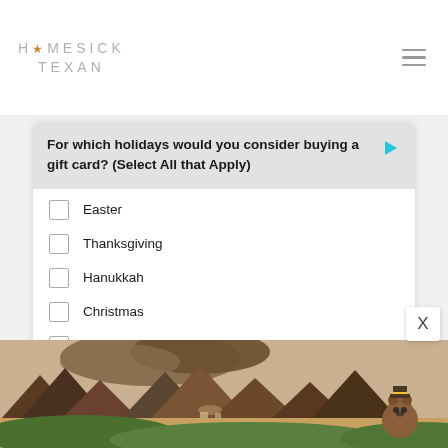HOMESICK TEXAN
[Figure (screenshot): Survey widget asking 'For which holidays would you consider buying a gift card? (Select All that Apply)' with checkboxes for Easter, Thanksgiving, Hanukkah, Christmas, Kwanzaa, New Years. Footer shows Zeta logo, '1 of 3', and a green Next button.]
[Figure (illustration): Landscape painting showing mountains, desert terrain, and a bear character (Smokey Bear) in the lower right. Natural landscape scene in earth tones.]